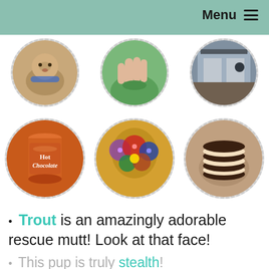Menu ≡
[Figure (photo): Six circular cropped photos arranged in two rows of three: top row shows a dog with bandana, a hand outdoors, and an interior scene; bottom row shows a Hot Chocolate tin, decorative beaded items, and chocolate sandwich cookies.]
Trout is an amazingly adorable rescue mutt! Look at that face!
This pup is truly stealth!